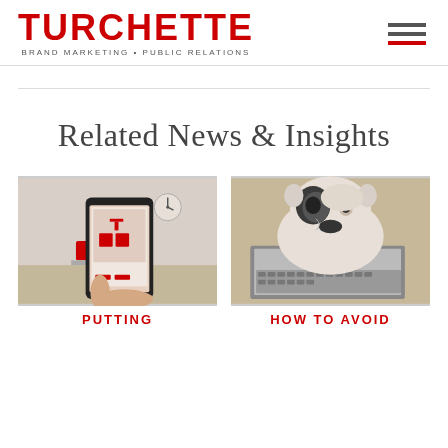[Figure (logo): Turchette Brand Marketing Public Relations logo with red bold text and tagline]
Related News & Insights
[Figure (photo): Person holding a smartphone displaying a red interior design app with chairs, clock on wall in background]
PUTTING
[Figure (photo): French bulldog resting on a laptop keyboard in a home office setting]
HOW TO AVOID